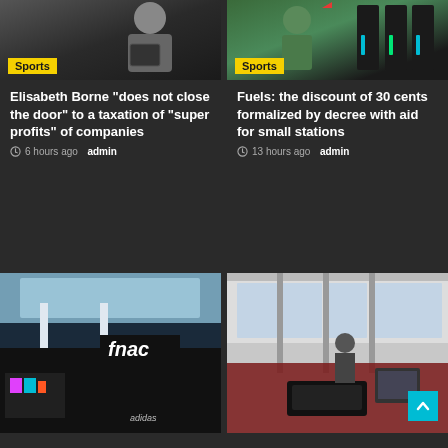[Figure (photo): Person holding a tablet/folder, dark background]
Sports
Elisabeth Borne “does not close the door” to a taxation of “super profits” of companies
6 hours ago  admin
[Figure (photo): Person at fuel/gas station pumps, green top]
Sports
Fuels: the discount of 30 cents formalized by decree with aid for small stations
13 hours ago  admin
[Figure (photo): Fnac store interior with multi-level shopping mall, adidas shop visible]
Sports
[Figure (photo): Office or service counter interior with printer and equipment]
Sports